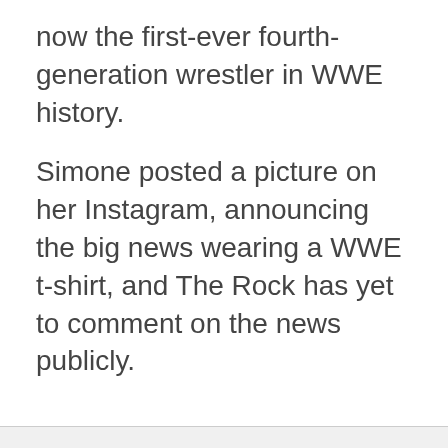now the first-ever fourth-generation wrestler in WWE history.
Simone posted a picture on her Instagram, announcing the big news wearing a WWE t-shirt, and The Rock has yet to comment on the news publicly.